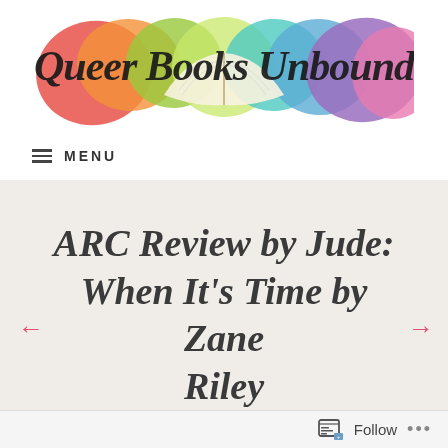[Figure (logo): Queer Books Unbound blog logo featuring an open book with rainbow-colored pages and the text 'Queer Books Unbound' in decorative script, overlaid on colorful splashes of paint in rainbow colors.]
≡ MENU
ARC Review by Jude: When It's Time by Zane Riley
Follow